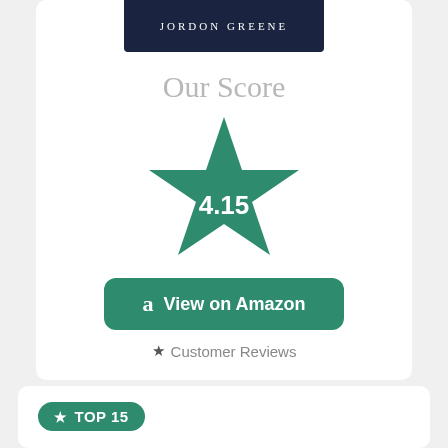[Figure (other): Book cover banner showing author name JORDON GREENE on dark navy background]
Our Score
[Figure (infographic): Large teal star with score 4.15 displayed in white text in the center]
View on Amazon
★ Customer Reviews
★ TOP 15
Hero
Moore, Perry
Little, Brown Books for Young Readers